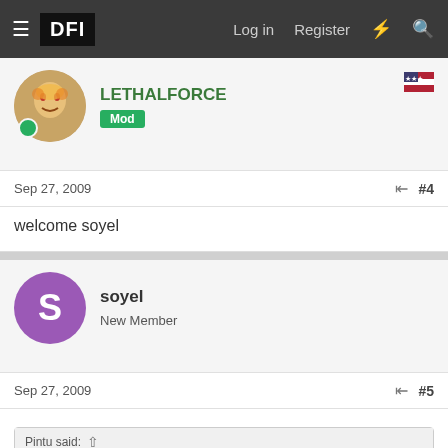DFI — Log in  Register
LETHALFORCE
Mod
Sep 27, 2009  #4
welcome soyel
soyel
New Member
Sep 27, 2009  #5
Pintu said:
Warm Welcome to Defence Forum of India, soyel , please enjoy your stay here, like you, the many respected members in this forum are also from West Bengal and I am also. You choose right platform.

Regards